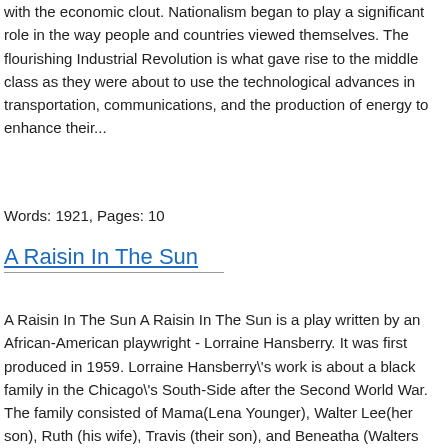with the economic clout. Nationalism began to play a significant role in the way people and countries viewed themselves. The flourishing Industrial Revolution is what gave rise to the middle class as they were about to use the technological advances in transportation, communications, and the production of energy to enhance their...
Words: 1921, Pages: 10
A Raisin In The Sun
A Raisin In The Sun A Raisin In The Sun is a play written by an African-American playwright - Lorraine Hansberry. It was first produced in 1959. Lorraine Hansberry's work is about a black family in the Chicago's South-Side after the Second World War. The family consisted of Mama(Lena Younger), Walter Lee(her son), Ruth (his wife), Travis (their son), and Beneatha (Walters younger sister). The Younger family lived in poor conditions, and can't afford to have better living standards